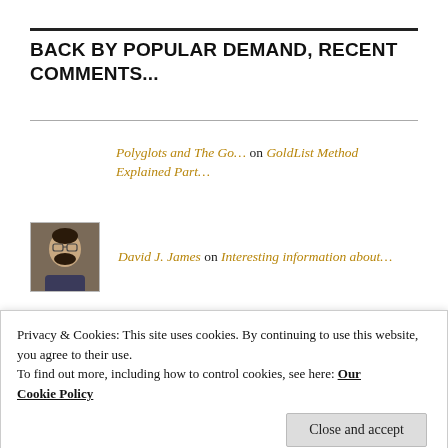BACK BY POPULAR DEMAND, RECENT COMMENTS...
Polyglots and The Go... on GoldList Method Explained Part...
David J. James on Interesting information about...
Annette Seville on Interesting information about...
Privacy & Cookies: This site uses cookies. By continuing to use this website, you agree to their use.
To find out more, including how to control cookies, see here: Our Cookie Policy
Close and accept